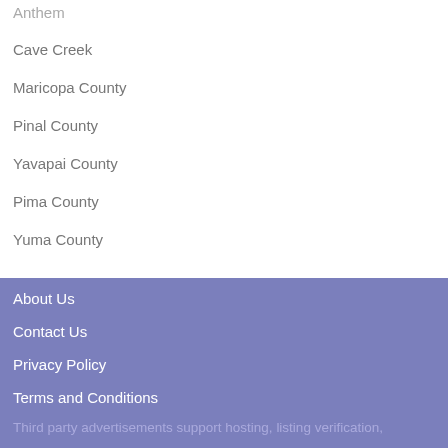Anthem
Cave Creek
Maricopa County
Pinal County
Yavapai County
Pima County
Yuma County
About Us
Contact Us
Privacy Policy
Terms and Conditions
Third party advertisements support hosting, listing verification,